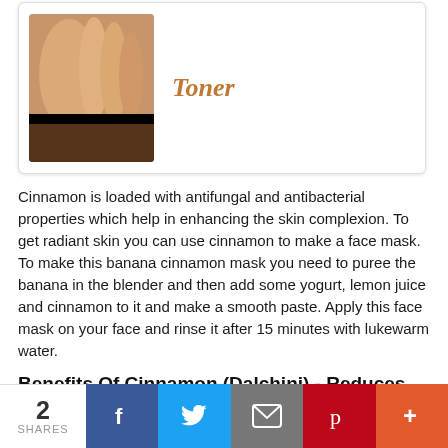[Figure (photo): Card with a hand image and the word 'Toner' in orange italic text]
Cinnamon is loaded with antifungal and antibacterial properties which help in enhancing the skin complexion. To get radiant skin you can use cinnamon to make a face mask. To make this banana cinnamon mask you need to puree the banana in the blender and then add some yogurt, lemon juice and cinnamon to it and make a smooth paste. Apply this face mask on your face and rinse it after 15 minutes with lukewarm water.
Benefits Of Cinnamon (Dalchini) -  Reduces Fine Lines
[Figure (photo): Card with cinnamon sticks image and text 'Benefits Of Cinnamon (Dalchini) -  Reduces Fine Lines' in orange]
2 SHARES  [Facebook] [Twitter] [Email] [Pinterest] [More]